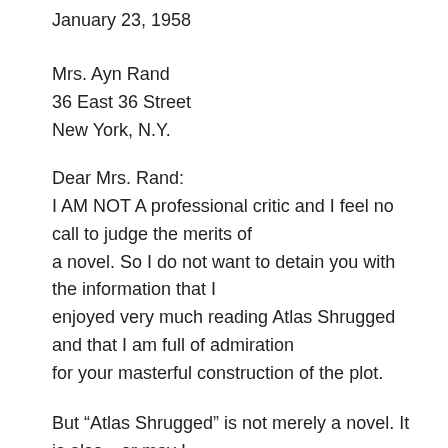January 23, 1958
Mrs. Ayn Rand
36 East 36 Street
New York, N.Y.
Dear Mrs. Rand:
I AM NOT A professional critic and I feel no call to judge the merits of
a novel. So I do not want to detain you with the information that I
enjoyed very much reading Atlas Shrugged and that I am full of admiration
for your masterful construction of the plot.
But “Atlas Shrugged” is not merely a novel. It is also—or may I
say: first of all—a cogent analysis of the evils that